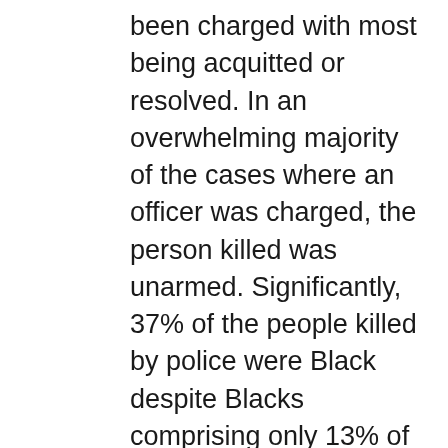been charged with most being acquitted or resolved. In an overwhelming majority of the cases where an officer was charged, the person killed was unarmed. Significantly, 37% of the people killed by police were Black despite Blacks comprising only 13% of the population, according to the WP.

I have often said that hunters and sports shooters and those who want to protect their homes and property are not the problem with gun violence. These gun owners almost always go through a background check and many